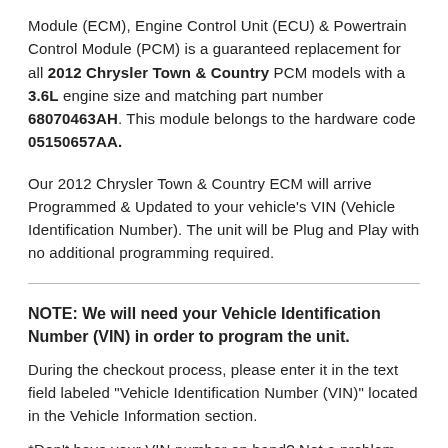Module (ECM), Engine Control Unit (ECU) & Powertrain Control Module (PCM) is a guaranteed replacement for all 2012 Chrysler Town & Country PCM models with a 3.6L engine size and matching part number 68070463AH. This module belongs to the hardware code 05150657AA.
Our 2012 Chrysler Town & Country ECM will arrive Programmed & Updated to your vehicle's VIN (Vehicle Identification Number). The unit will be Plug and Play with no additional programming required.
NOTE: We will need your Vehicle Identification Number (VIN) in order to program the unit.
During the checkout process, please enter it in the text field labeled "Vehicle Identification Number (VIN)" located in the Vehicle Information section.
*Don't have your VIN number on hand? Not a problem, you can send it to us later by e-mail admin@fs1inc.com or by